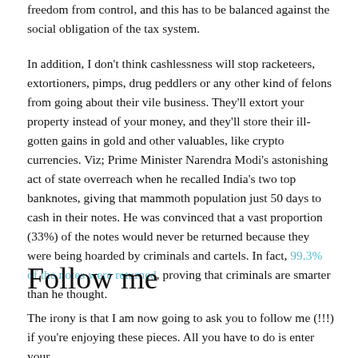freedom from control, and this has to be balanced against the social obligation of the tax system.
In addition, I don't think cashlessness will stop racketeers, extortioners, pimps, drug peddlers or any other kind of felons from going about their vile business. They'll extort your property instead of your money, and they'll store their ill-gotten gains in gold and other valuables, like crypto currencies. Viz; Prime Minister Narendra Modi's astonishing act of state overreach when he recalled India's two top banknotes, giving that mammoth population just 50 days to cash in their notes. He was convinced that a vast proportion (33%) of the notes would never be returned because they were being hoarded by criminals and cartels. In fact, 99.3% of the notes were returned, proving that criminals are smarter than he thought.
Follow me
The irony is that I am now going to ask you to follow me (!!!) if you're enjoying these pieces. All you have to do is enter your